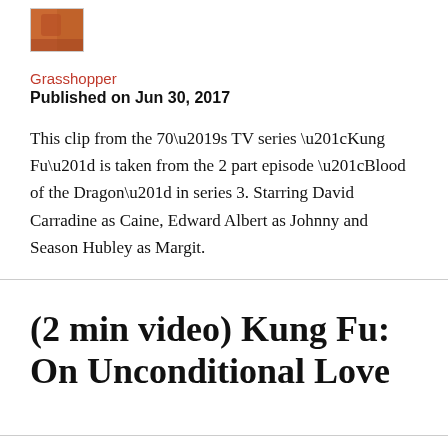[Figure (photo): Small thumbnail image showing a person, warm orange/brown tones]
Grasshopper
Published on Jun 30, 2017
This clip from the 70’s TV series “Kung Fu” is taken from the 2 part episode “Blood of the Dragon” in series 3. Starring David Carradine as Caine, Edward Albert as Johnny and Season Hubley as Margit.
(2 min video) Kung Fu: On Unconditional Love